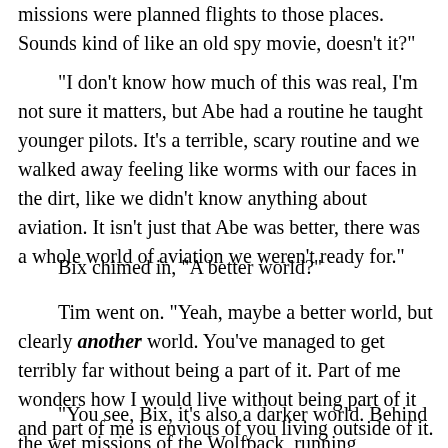missions were planned flights to those places. Sounds kind of like an old spy movie, doesn't it?
"I don't know how much of this was real, I'm not sure it matters, but Abe had a routine he taught younger pilots. It's a terrible, scary routine and we walked away feeling like worms with our faces in the dirt, like we didn't know anything about aviation. It isn't just that Abe was better, there was a whole world of aviation we weren't ready for."
Bix chimed in, "A better world?"
Tim went on. "Yeah, maybe a better world, but clearly another world. You've managed to get terribly far without being a part of it. Part of me wonders how I would live without being part of it and part of me is envious of you living outside of it.
"You see, Bix, it's also a darker world. Behind the wet missions of the Wolfpack, running ammunition and supplies into Rounds and sneaking across hostile